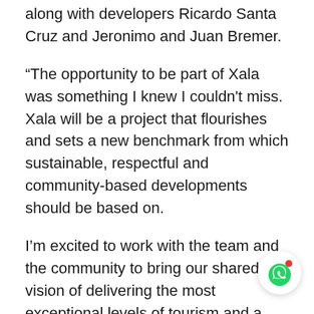along with developers Ricardo Santa Cruz and Jeronimo and Juan Bremer.
“The opportunity to be part of Xala was something I knew I couldn't miss. Xala will be a project that flourishes and sets a new benchmark from which sustainable, respectful and community-based developments should be based on.
I’m excited to work with the team and the community to bring our shared vision of delivering the most exceptional levels of tourism and a truly sustainable neighbourhood to this incredibly special of the world,” said Gere.